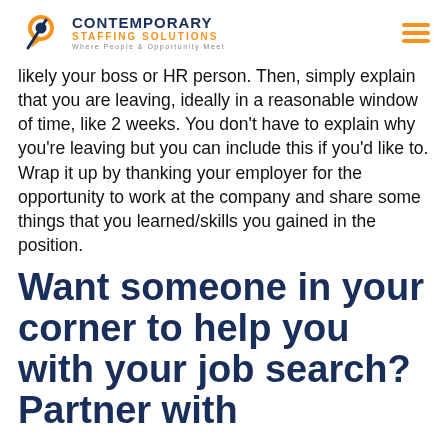Contemporary Staffing Solutions — Where People & Opportunity Meet
likely your boss or HR person. Then, simply explain that you are leaving, ideally in a reasonable window of time, like 2 weeks. You don't have to explain why you're leaving but you can include this if you'd like to. Wrap it up by thanking your employer for the opportunity to work at the company and share some things that you learned/skills you gained in the position.
Want someone in your corner to help you with your job search? Partner with